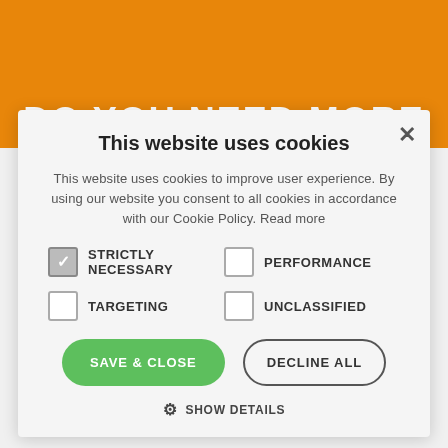[Figure (screenshot): Orange banner background with partial text 'DO YOU NEED MORE']
DO YOU NEED MORE
This website uses cookies
This website uses cookies to improve user experience. By using our website you consent to all cookies in accordance with our Cookie Policy. Read more
STRICTLY NECESSARY (checked)
PERFORMANCE (unchecked)
TARGETING (unchecked)
UNCLASSIFIED (unchecked)
SAVE & CLOSE
DECLINE ALL
SHOW DETAILS